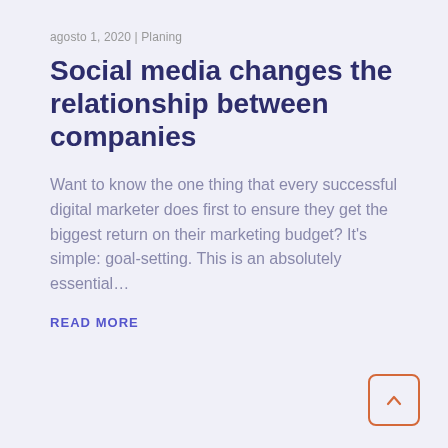agosto 1, 2020 | Planing
Social media changes the relationship between companies
Want to know the one thing that every successful digital marketer does first to ensure they get the biggest return on their marketing budget? It's simple: goal-setting. This is an absolutely essential…
READ MORE